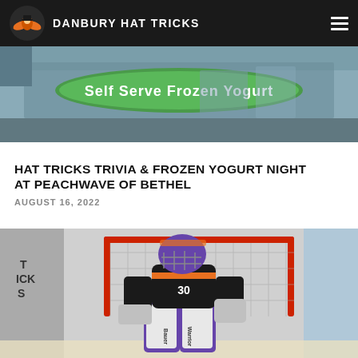DANBURY HAT TRICKS
[Figure (photo): Interior of a frozen yogurt shop showing a green sign reading 'Self Serve Frozen Yogurt']
HAT TRICKS TRIVIA & FROZEN YOGURT NIGHT AT PEACHWAVE OF BETHEL
AUGUST 16, 2022
[Figure (photo): Hockey goalie in Danbury Hat Tricks uniform (black jersey with orange accents, number 30) crouching in front of a red net on the ice]